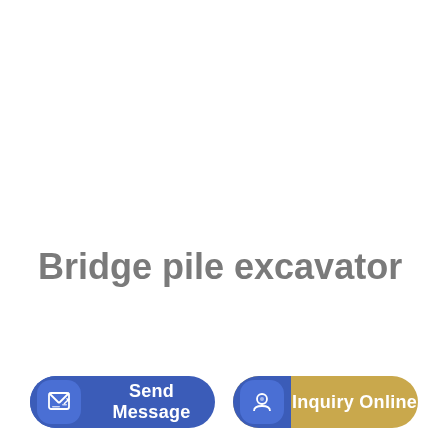Bridge pile excavator
Send Message
Inquiry Online